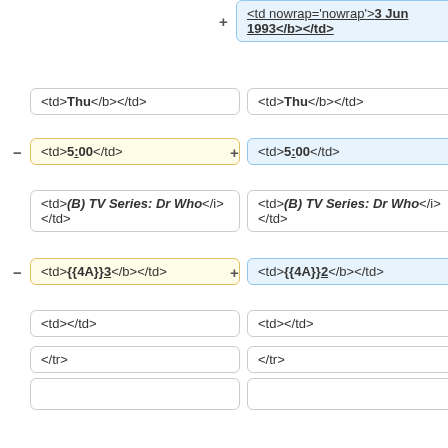+ <td nowrap='nowrap'><b>3 Jun 1993</b></td>
<td><b>Thu</b></td>
<td><b>Thu</b></td>
- <td><b>5:00</b></td>
+ <td><b>5:00</b></td>
<td><i><b>(B) TV Series: Dr Who</b></i></td>
<td><i><b>(B) TV Series: Dr Who</b></i></td>
- <td><b>{{4A}}3</b></td>
+ <td><b>{{4A}}2</b></td>
<td></td>
<td></td>
</tr>
</tr>
<tr>
<tr>
- <td>4</td>
+ <td>3</td>
<td nowrap='nowrap'>
<td nowrap='nowrap'><b>4 Jun 1993</b></td>